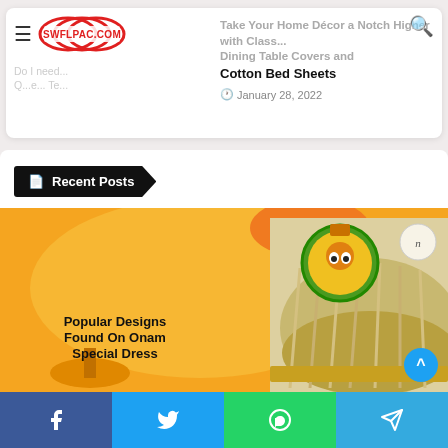[Figure (logo): SWFLPAC.COM logo with red oval rings and red text]
Take Your Home Décor a Notch Higher with Classic Dining Table Covers and Cotton Bed Sheets
January 28, 2022
Recent Posts
[Figure (photo): Promotional image for Popular Designs Found On Onam Special Dress, featuring orange background with Kathakali character, and a gold/cream pleated dress for children]
[Figure (other): Social share bar with Facebook, Twitter, WhatsApp, and Telegram buttons]